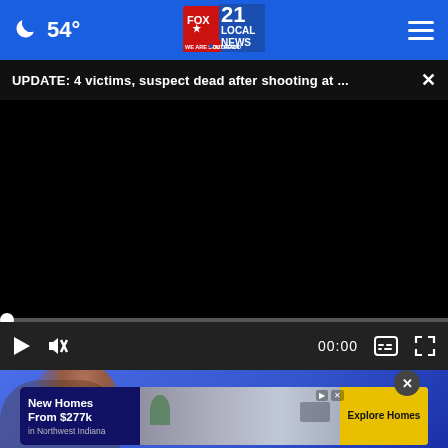54° FOX 21 LOCAL NEWS — WE ARE SOUTHERN COLORADO
UPDATE: 4 victims, suspect dead after shooting at ...
[Figure (screenshot): Black video player area with progress bar at beginning and playback controls showing play button, mute button, timecode 00:00, captions button, and fullscreen button]
[Figure (photo): Partial view of a person with red/brown hair against a blue background, with an advertisement overlay for New Homes From $277k in Northwest Indiana with Explore Homes call-to-action button]